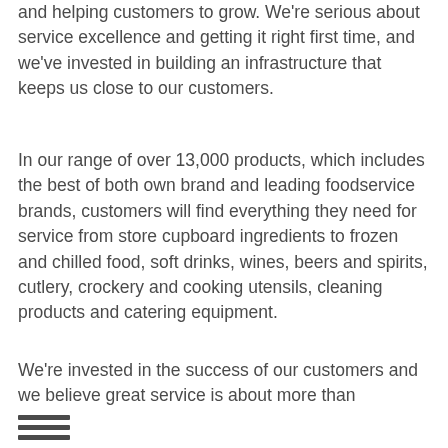and helping customers to grow. We're serious about service excellence and getting it right first time, and we've invested in building an infrastructure that keeps us close to our customers.
In our range of over 13,000 products, which includes the best of both own brand and leading foodservice brands, customers will find everything they need for service from store cupboard ingredients to frozen and chilled food, soft drinks, wines, beers and spirits, cutlery, crockery and cooking utensils, cleaning products and catering equipment.
We're invested in the success of our customers and we believe great service is about more than